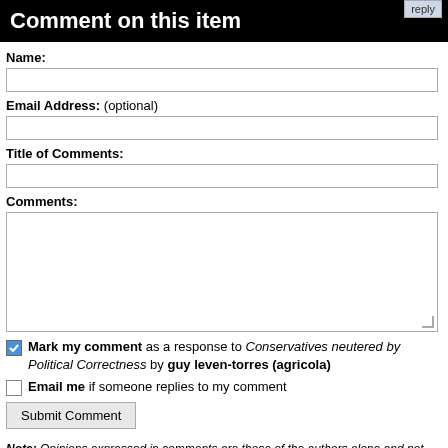Comment on this item
Name:
Email Address: (optional)
Title of Comments:
Comments:
Mark my comment as a response to Conservatives neutered by Political Correctness by guy leven-torres (agricola)
Email me if someone replies to my comment
Submit Comment
Note: Opinions expressed in comments are those of the authors alone and not necessarily those of Daniel Pipes. Original writing only, please. Comments are